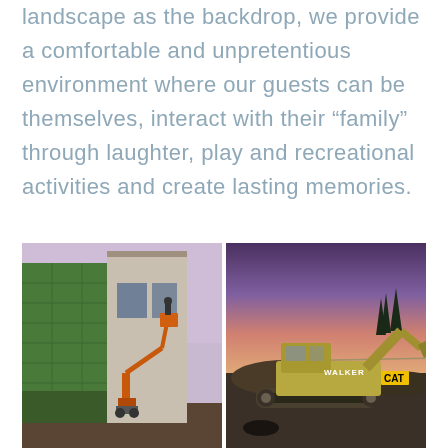landscape as the backdrop, we provide a comfortable and unpretentious environment where our guests can be themselves, interact with their “family” through laughter, play and recreational activities and create lasting memories.
[Figure (photo): Two construction site photos side by side. Left photo shows a green building under construction with a cherry picker/lift and workers. Right photo shows a CAT excavator (Walker brand) at dusk/dawn with purple sky and trees in background.]